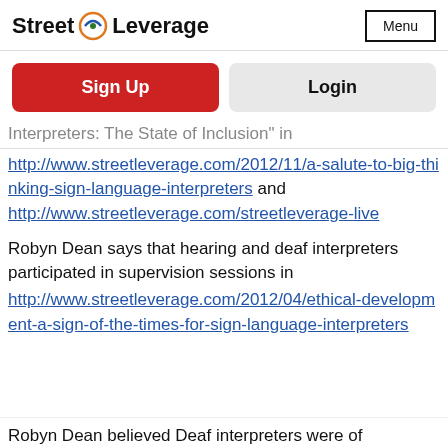Street Leverage — Menu
Sign Up
Login
Interpreters: The State of Inclusion" in http://www.streetleverage.com/2012/11/a-salute-to-big-thinking-sign-language-interpreters and http://www.streetleverage.com/streetleverage-live
Robyn Dean says that hearing and deaf interpreters participated in supervision sessions in http://www.streetleverage.com/2012/04/ethical-development-a-sign-of-the-times-for-sign-language-interpreters
Robyn Dean believed Deaf interpreters were of